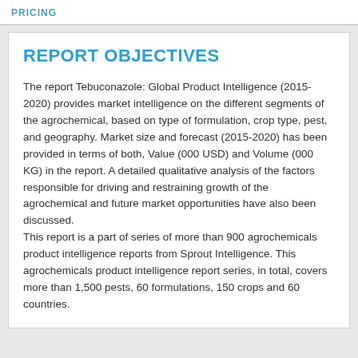PRICING
REPORT OBJECTIVES
The report Tebuconazole: Global Product Intelligence (2015-2020) provides market intelligence on the different segments of the agrochemical, based on type of formulation, crop type, pest, and geography. Market size and forecast (2015-2020) has been provided in terms of both, Value (000 USD) and Volume (000 KG) in the report. A detailed qualitative analysis of the factors responsible for driving and restraining growth of the agrochemical and future market opportunities have also been discussed.
This report is a part of series of more than 900 agrochemicals product intelligence reports from Sprout Intelligence. This agrochemicals product intelligence report series, in total, covers more than 1,500 pests, 60 formulations, 150 crops and 60 countries.